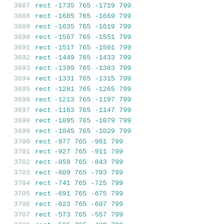| line | command | args |
| --- | --- | --- |
| 3687 | rect | -1735 765 -1719 799 |
| 3688 | rect | -1685 765 -1669 799 |
| 3689 | rect | -1635 765 -1619 799 |
| 3690 | rect | -1567 765 -1551 799 |
| 3691 | rect | -1517 765 -1501 799 |
| 3692 | rect | -1449 765 -1433 799 |
| 3693 | rect | -1399 765 -1383 799 |
| 3694 | rect | -1331 765 -1315 799 |
| 3695 | rect | -1281 765 -1265 799 |
| 3696 | rect | -1213 765 -1197 799 |
| 3697 | rect | -1163 765 -1147 799 |
| 3698 | rect | -1095 765 -1079 799 |
| 3699 | rect | -1045 765 -1029 799 |
| 3700 | rect | -977 765 -961 799 |
| 3701 | rect | -927 765 -911 799 |
| 3702 | rect | -859 765 -843 799 |
| 3703 | rect | -809 765 -793 799 |
| 3704 | rect | -741 765 -725 799 |
| 3705 | rect | -691 765 -675 799 |
| 3706 | rect | -623 765 -607 799 |
| 3707 | rect | -573 765 -557 799 |
| 3708 | rect | -505 765 -489 799 |